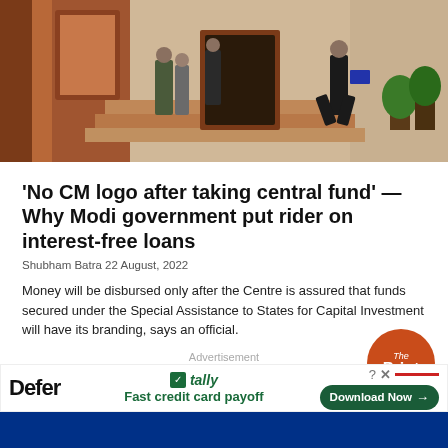[Figure (photo): People walking on steps of a red sandstone government building in India, with a man in a suit walking quickly in the foreground and potted plants on the right side.]
'No CM logo after taking central fund' — Why Modi government put rider on interest-free loans
Shubham Batra 22 August, 2022
Money will be disbursed only after the Centre is assured that funds secured under the Special Assistance to States for Capital Investment will have its branding, says an official.
[Figure (logo): The Print circular logo in orange/red with white text]
Advertisement
Defer — tally — Fast credit card payoff — Download Now